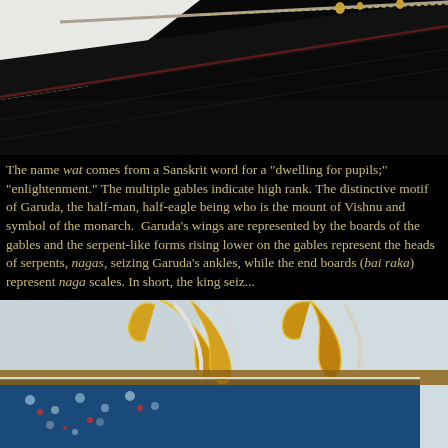[Figure (photo): Close-up photograph of a dark black lacquered temple roof with gold decorative elements and a diagonal ridge line. Small gold figurines visible along the ridge.]
The name wat comes from a Sanskrit word for a "dwelling for pupils;" "enlightenment." The multiple gables indicate high rank. The distinctive motif of Garuda, the half-man, half-eagle being who is the mount of Vishnu and symbol of the monarch. Garuda's wings are represented by the boards of the gables and the serpent-like forms rising lower on the gables represent the heads of serpents, nagas, seizing Garuda's ankles, while the end boards (bai raka) represent naga scales. In short, the king seiz...
[Figure (photo): Close-up photograph of ornate Thai temple roof decoration featuring golden naga (serpent) figures with curving bodies against a light sky, with blue and gold mosaic tile work below.]